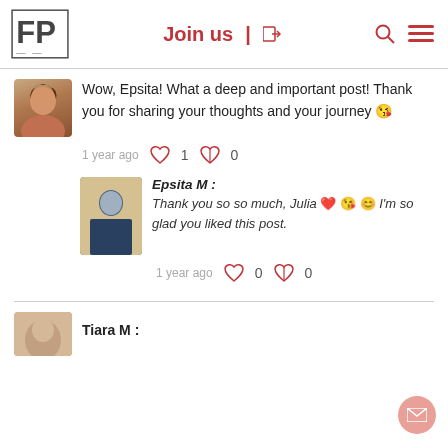FP logo | Join us | search | menu
Wow, Epsita! What a deep and important post! Thank you for sharing your thoughts and your journey 😘
1 year ago ♡ 1  ⊘ 0
Epsita M : Thank you so so much, Julia ❤️ 😘 😊 I'm so glad you liked this post.
1 year ago ♡ 0  ⊘ 0
Tiara M :